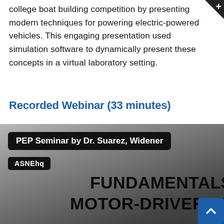college boat building competition by presenting modern techniques for powering electric-powered vehicles. This engaging presentation used simulation software to dynamically present these concepts in a virtual laboratory setting.
Recorded Webinar (33 minutes)
[Figure (screenshot): Screenshot of a video thumbnail showing 'PEP Seminar by Dr. Suarez, Widener' with tag 'ASNEhq' and slide text reading 'FUNDAMENTALS OF MOTOR-DRIVER ELECTR...' by Dr. John Suarez, Department of Electrical Engineering, Widener University, IN COLLABORATION WITH...]